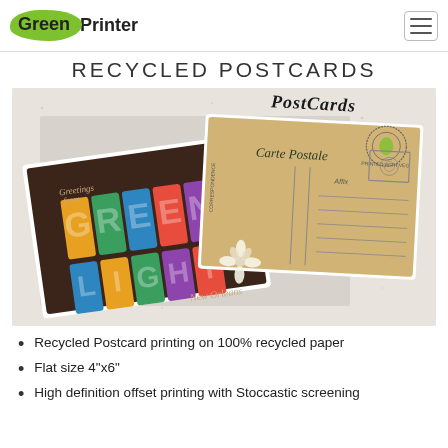GreenPrinter
RECYCLED POSTCARDS
[Figure (illustration): Two vintage-style postcards on a speckled beige background. Left: dark brown postcard with colorful 'GREEN LIGHT New Orleans' text and 'Greetings from'. Right: aged yellow postcard back with 'Carte Postale' cursive heading, stamp box, address lines, and a flower illustration. Above: 'PostCards' cursive script with a circular eco stamp.]
Recycled Postcard printing on 100% recycled paper
Flat size 4"x6"
High definition offset printing with Stoccastic screening